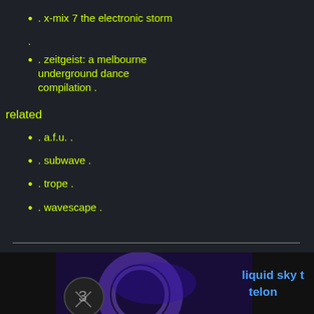. x-mix 7 the electronic storm
.
. zeitgeist: a melbourne underground dance compilation .
related
. a.f.u. .
. subwave .
. trope .
. wavescape .
[Figure (photo): Bottom banner showing a dark scene with purple/blue lighting, a circular graphic element on the left, and text 'liquid sky t' and 'telon' on the right in blue]